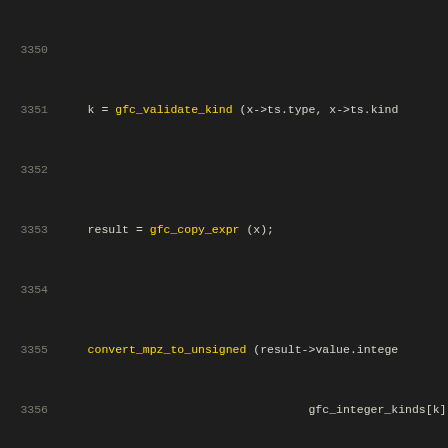Source code listing lines 3350-3370, C code for GFC compiler functions
3350 (empty)
3351     k = gfc_validate_kind (x->ts.type, x->ts.kind
3352 (empty)
3353     result = gfc_copy_expr (x);
3354 (empty)
3355     convert_mpz_to_unsigned (result->value.intege
3356                                     gfc_integer_kinds[k]
3357 (empty)
3358     mpz_clrbit (result->value.integer, pos);
3359 (empty)
3360     gfc_convert_mpz_to_signed (result->value.inte
3361                                     gfc_integer_kinds[k].b
3362 (empty)
3363     return result;
3364   }
3365 (empty)
3366 (empty)
3367   gfc_expr *
3368   gfc_simplify_ibits (gfc_expr *x, gfc_expr *y, g
3369   {
3370     gfc_expr *result;